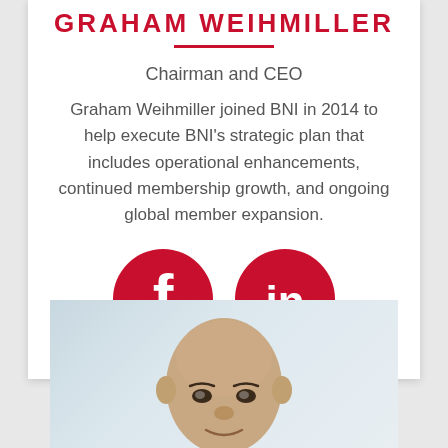GRAHAM WEIHMILLER
Chairman and CEO
Graham Weihmiller joined BNI in 2014 to help execute BNI's strategic plan that includes operational enhancements, continued membership growth, and ongoing global member expansion.
[Figure (illustration): Facebook and LinkedIn social media icons (red circles with white 'f' and 'in' logos)]
[Figure (photo): Portrait photo of Graham Weihmiller, a bald man, against a light grey/blue gradient background]